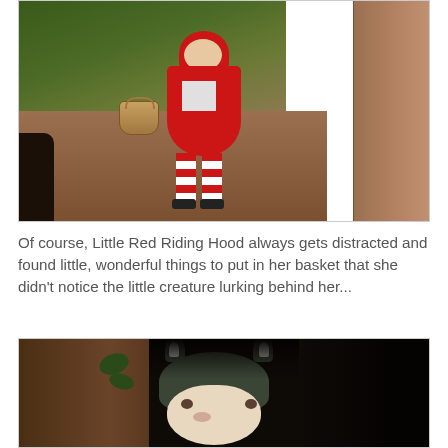[Figure (photo): A toddler dressed as Little Red Riding Hood in a red cape and hood with red and white striped leggings, carrying a basket, standing on a forest path with trees in the background.]
Of course, Little Red Riding Hood always gets distracted and found little, wonderful things to put in her basket that she didn't notice the little creature lurking behind her...
[Figure (photo): A baby wearing a grey wolf or fox knit hat with ears, peeking out from behind a tree trunk in a dark forest setting.]